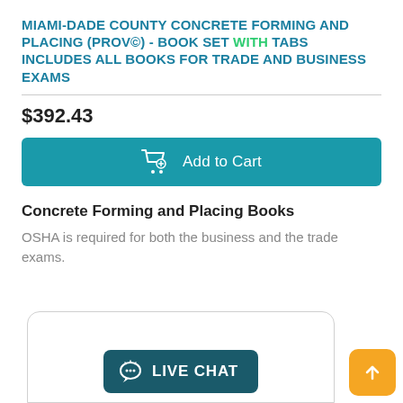MIAMI-DADE COUNTY CONCRETE FORMING AND PLACING (PROV©) - BOOK SET WITH TABS INCLUDES ALL BOOKS FOR TRADE AND BUSINESS EXAMS
$392.43
[Figure (other): Teal 'Add to Cart' button with shopping cart icon]
Concrete Forming and Placing Books
OSHA is required for both the business and the trade exams.
[Figure (other): Live chat widget panel with rounded border at page bottom, containing a dark teal 'LIVE CHAT' button with speech bubble icon]
[Figure (other): Orange scroll-to-top button with upward arrow, positioned at bottom right]